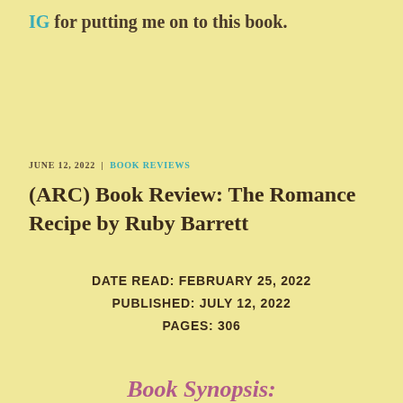IG for putting me on to this book.
JUNE 12, 2022 | BOOK REVIEWS
(ARC) Book Review: The Romance Recipe by Ruby Barrett
DATE READ: FEBRUARY 25, 2022
PUBLISHED: JULY 12, 2022
PAGES: 306
Book Synopsis: